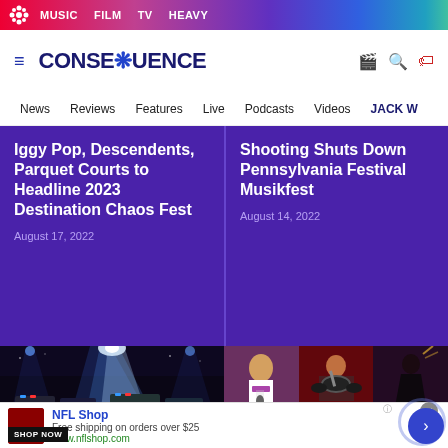MUSIC  FILM  TV  HEAVY
CONSEQUENCE
News  Reviews  Features  Live  Podcasts  Videos  JACK W
Iggy Pop, Descendents, Parquet Courts to Headline 2023 Destination Chaos Fest
August 17, 2022
Shooting Shuts Down Pennsylvania Festival Musikfest
August 14, 2022
[Figure (photo): Concert lights at night with blue/white stage lights and vehicles below]
[Figure (photo): Three panel photo: woman speaking into microphone, drummer on red-lit stage, performer with raised hand in dark]
NFL Shop
Free shipping on orders over $25
www.nflshop.com
SHOP NOW